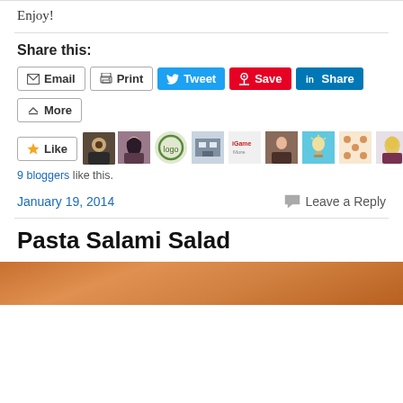Enjoy!
Share this:
Email  Print  Tweet  Save  Share  More
[Figure (other): Like button with 9 blogger avatar thumbnails]
9 bloggers like this.
January 19, 2014
Leave a Reply
Pasta Salami Salad
[Figure (photo): Food photo of pasta salami salad, partially visible at the bottom]